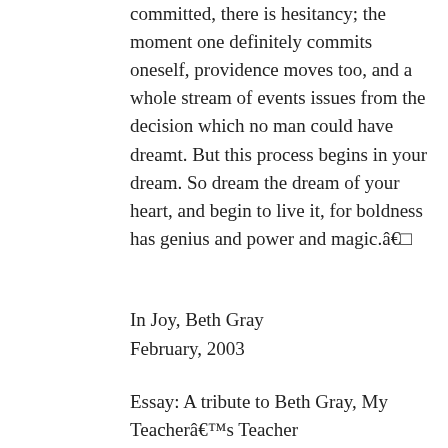committed, there is hesitancy; the moment one definitely commits oneself, providence moves too, and a whole stream of events issues from the decision which no man could have dreamt. But this process begins in your dream. So dream the dream of your heart, and begin to live it, for boldness has genius and power and magic.â€¦
In Joy, Beth Gray
February, 2003
Essay: A tribute to Beth Gray, My Teacherâ€™s Teacher
http://www.compassionatedragon.com/reiki_beth_g